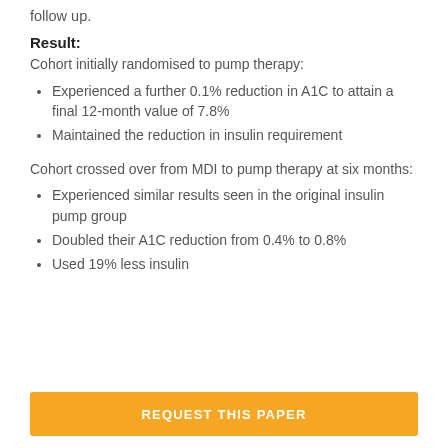follow up.
Result:
Cohort initially randomised to pump therapy:
Experienced a further 0.1% reduction in A1C to attain a final 12-month value of 7.8%
Maintained the reduction in insulin requirement
Cohort crossed over from MDI to pump therapy at six months:
Experienced similar results seen in the original insulin pump group
Doubled their A1C reduction from 0.4% to 0.8%
Used 19% less insulin
REQUEST THIS PAPER